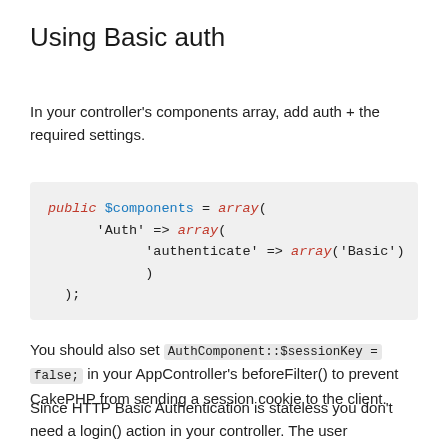Using Basic auth
In your controller's components array, add auth + the required settings.
You should also set AuthComponent::$sessionKey = false; in your AppController's beforeFilter() to prevent CakePHP from sending a session cookie to the client.
Since HTTP Basic Authentication is stateless you don't need a login() action in your controller. The user credentials will be checked on each request. If valid